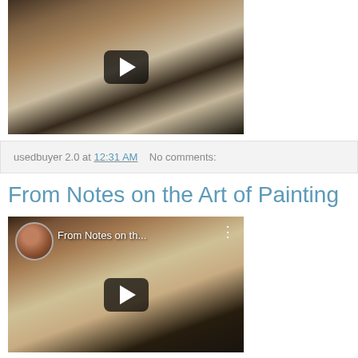[Figure (screenshot): Video thumbnail showing an elderly bearded man sitting in a chair with a bookshelf background, with a play button overlay]
usedbuyer 2.0 at 12:31 AM    No comments:
From Notes on the Art of Painting
[Figure (screenshot): YouTube video thumbnail showing 'From Notes on th...' with a bearded man's face, avatar icon, play button, and bookshelf background]